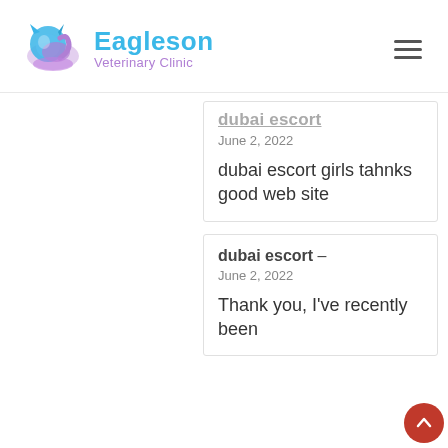Eagleson Veterinary Clinic
dubai escort
June 2, 2022
dubai escort girls tahnks good web site
dubai escort –
June 2, 2022
Thank you, I've recently been